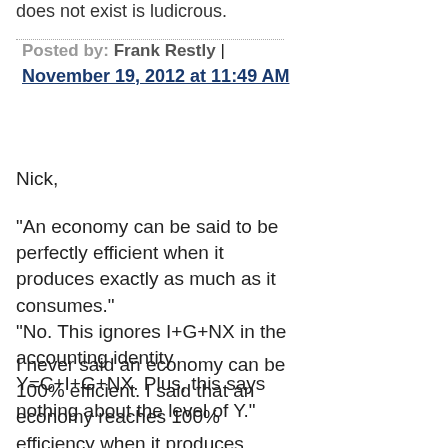does not exist is ludicrous.
Posted by: Frank Restly | November 19, 2012 at 11:49 AM
Nick,
"An economy can be said to be perfectly efficient when it produces exactly as much as it consumes." "No. This ignores I+G+NX in the accounting identity Y=C+I+G+NX. Plus, this says nothing about the level of Y."
I never said an economy can be 100% efficient. I said that an economy reaches 100% efficiency when it produces